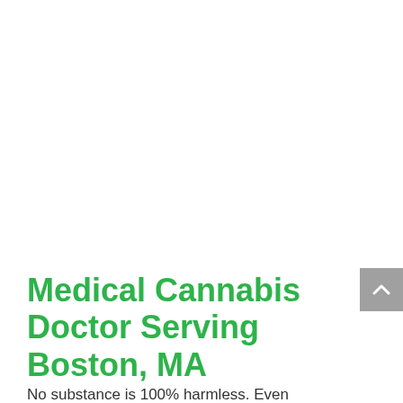Medical Cannabis Doctor Serving Boston, MA
No substance is 100% harmless. Even